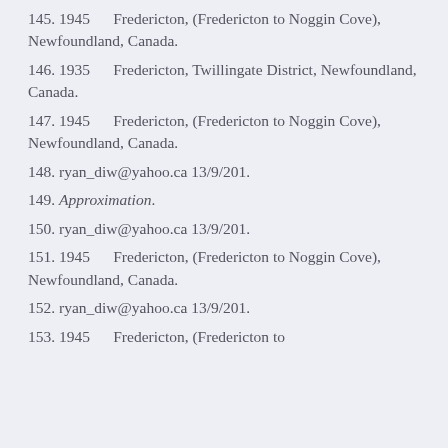145. 1945     Fredericton, (Fredericton to Noggin Cove), Newfoundland, Canada.
146. 1935     Fredericton, Twillingate District, Newfoundland, Canada.
147. 1945     Fredericton, (Fredericton to Noggin Cove), Newfoundland, Canada.
148. ryan_diw@yahoo.ca 13/9/201.
149. Approximation.
150. ryan_diw@yahoo.ca 13/9/201.
151. 1945     Fredericton, (Fredericton to Noggin Cove), Newfoundland, Canada.
152. ryan_diw@yahoo.ca 13/9/201.
153. 1945     Fredericton, (Fredericton to